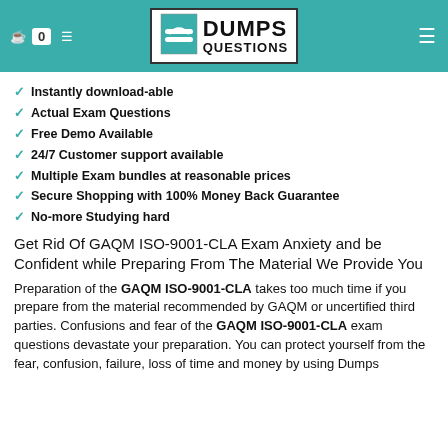[Figure (logo): DumpsQuestions logo with teal header bar, navigation icons, and badge showing 0]
Instantly download-able
Actual Exam Questions
Free Demo Available
24/7 Customer support available
Multiple Exam bundles at reasonable prices
Secure Shopping with 100% Money Back Guarantee
No-more Studying hard
Get Rid Of GAQM ISO-9001-CLA Exam Anxiety and be Confident while Preparing From The Material We Provide You
Preparation of the GAQM ISO-9001-CLA takes too much time if you prepare from the material recommended by GAQM or uncertified third parties. Confusions and fear of the GAQM ISO-9001-CLA exam questions devastate your preparation. You can protect yourself from the fear, confusion, failure, loss of time and money by using Dumps